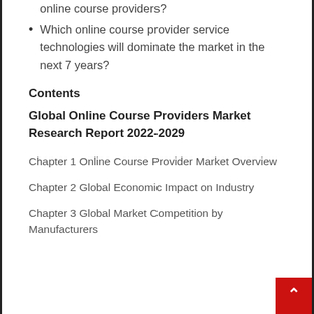online course providers?
Which online course provider service technologies will dominate the market in the next 7 years?
Contents
Global Online Course Providers Market Research Report 2022-2029
Chapter 1 Online Course Provider Market Overview
Chapter 2 Global Economic Impact on Industry
Chapter 3 Global Market Competition by Manufacturers